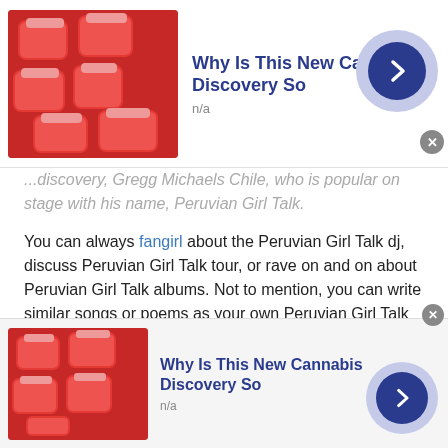[Figure (screenshot): Advertisement banner with red candy image and text 'Why Is This New Cannabis Discovery So' with n/a subtitle, blue arrow button, and close X button]
...discovery, Gregg Michaels Chile, who is popular on stage with his name, Peruvian Girl Talk.
You can always fangirl about the Peruvian Girl Talk dj, discuss Peruvian Girl Talk tour, or rave on and on about Peruvian Girl Talk albums. Not to mention, you can write similar songs or poems as your own Peruvian Girl Talk song – a passion activity idea for those who love it.
How to get a girl's attention on talkwithstranger during Peruvian Girl Talk?
[Figure (screenshot): Advertisement banner with red candy image and text 'Why Is This New Cannabis Discovery So' with n/a subtitle, blue arrow button, and close X button]